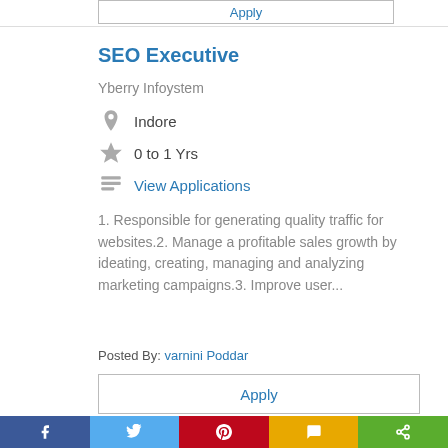Apply
SEO Executive
Yberry Infoystem
Indore
0 to 1 Yrs
View Applications
1. Responsible for generating quality traffic for websites.2. Manage a profitable sales growth by ideating, creating, managing and analyzing marketing campaigns.3. Improve user...
Posted By: varnini Poddar
Apply
[Figure (infographic): Social media sharing bar with Facebook, Twitter, Pinterest, SMS, and Share icons]